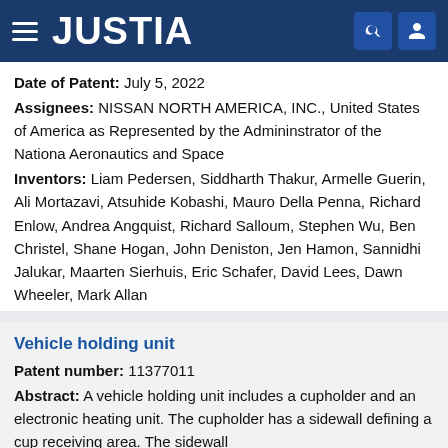JUSTIA
Date of Patent: July 5, 2022
Assignees: NISSAN NORTH AMERICA, INC., United States of America as Represented by the Admininstrator of the Nationa Aeronautics and Space
Inventors: Liam Pedersen, Siddharth Thakur, Armelle Guerin, Ali Mortazavi, Atsuhide Kobashi, Mauro Della Penna, Richard Enlow, Andrea Angquist, Richard Salloum, Stephen Wu, Ben Christel, Shane Hogan, John Deniston, Jen Hamon, Sannidhi Jalukar, Maarten Sierhuis, Eric Schafer, David Lees, Dawn Wheeler, Mark Allan
Vehicle holding unit
Patent number: 11377011
Abstract: A vehicle holding unit includes a cupholder and an electronic heating unit. The cupholder has a sidewall defining a cup receiving area. The sidewall